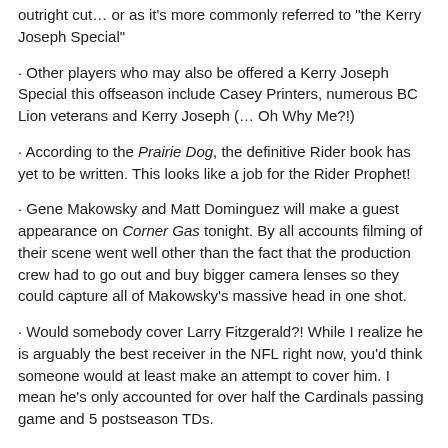outright cut… or as it's more commonly referred to "the Kerry Joseph Special"
· Other players who may also be offered a Kerry Joseph Special this offseason include Casey Printers, numerous BC Lion veterans and Kerry Joseph (… Oh Why Me?!)
· According to the Prairie Dog, the definitive Rider book has yet to be written. This looks like a job for the Rider Prophet!
· Gene Makowsky and Matt Dominguez will make a guest appearance on Corner Gas tonight. By all accounts filming of their scene went well other than the fact that the production crew had to go out and buy bigger camera lenses so they could capture all of Makowsky's massive head in one shot.
· Would somebody cover Larry Fitzgerald?! While I realize he is arguably the best receiver in the NFL right now, you'd think someone would at least make an attempt to cover him. I mean he's only accounted for over half the Cardinals passing game and 5 postseason TDs.